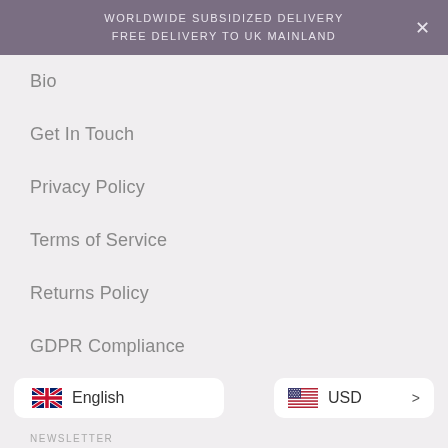WORLDWIDE SUBSIDIZED DELIVERY
FREE DELIVERY TO UK MAINLAND
Bio
Get In Touch
Privacy Policy
Terms of Service
Returns Policy
GDPR Compliance
CCPA Compliance
English
USD >
NEWSLETTER